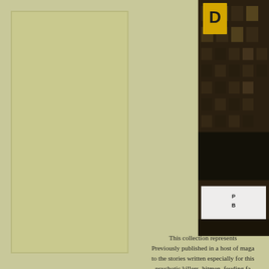[Figure (photo): Book cover partially visible on the right side, showing a dark urban building facade with a yellow/gold rectangular logo element at the top, and white text block in the lower portion, set against a dark city background.]
This collection represents Previously published in a host of maga to the stories written especially for this psychotic killers, hitmen, feuding fa the walking dead, and ordinary p